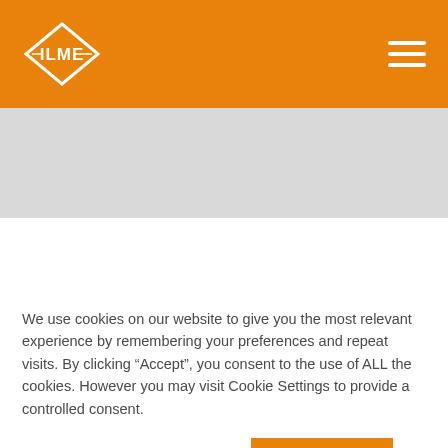[Figure (logo): ILME logo — white diamond shape with ILME text inside, on orange background header bar]
We use cookies on our website to give you the most relevant experience by remembering your preferences and repeat visits. By clicking “Accept”, you consent to the use of ALL the cookies. However you may visit Cookie Settings to provide a controlled consent.
COOKIE SETTINGS
ACCEPT